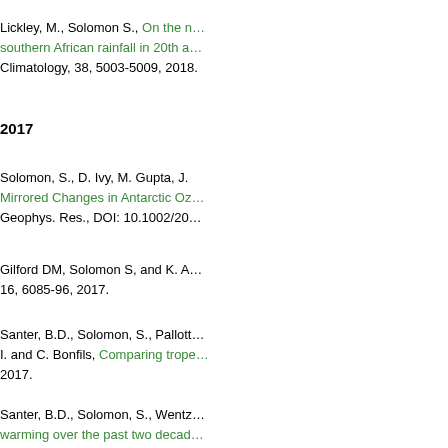Lickley, M., Solomon S., On the role of … southern African rainfall in 20th a… Climatology, 38, 5003-5009, 2018.
2017
Solomon, S., D. Ivy, M. Gupta, J. … Mirrored Changes in Antarctic Oz… Geophys. Res., DOI: 10.1002/20…
Gilford DM, Solomon S, and K. A… 16, 6085-96, 2017.
Santer, B.D., Solomon, S., Pallott… I. and C. Bonfils, Comparing trope… 2017.
Santer, B.D., Solomon, S., Wentz… warming over the past two decad…
Stone, K.A., Solomon, S., Kinniso… Schwartz, M.J., Vernier, J.P., Obs…